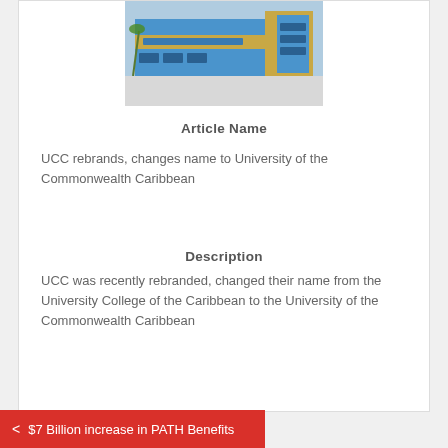[Figure (photo): Photo of a modern blue and yellow university building (UCC / University of the Commonwealth Caribbean)]
Article Name
UCC rebrands, changes name to University of the Commonwealth Caribbean
Description
UCC was recently rebranded, changed their name from the University College of the Caribbean to the University of the Commonwealth Caribbean
< $7 Billion increase in PATH Benefits